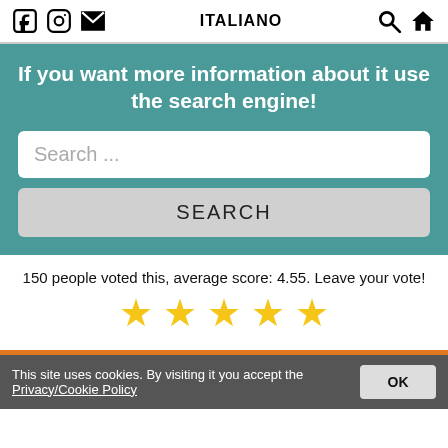ITALIANO
If you want more information about it use the search engine!
Search ...
SEARCH
150 people voted this, average score: 4.55. Leave your vote!
[Figure (other): Five gold star rating icons]
This site uses cookies. By visiting it you accept the Privacy/Cookie Policy